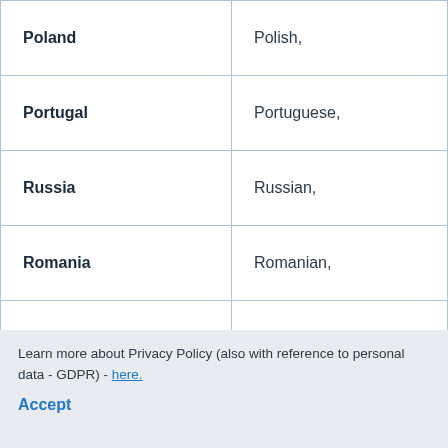| Country | Language |
| --- | --- |
| Poland | Polish, |
| Portugal | Portuguese, |
| Russia | Russian, |
| Romania | Romanian, |
|  |  |
Learn more about Privacy Policy (also with reference to personal data - GDPR) - here.
Accept